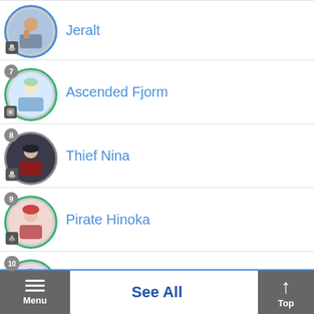Jeralt
7 Ascended Fjorm
8 Thief Nina
9 Pirate Hinoka
10 Ascended Idunn
See All